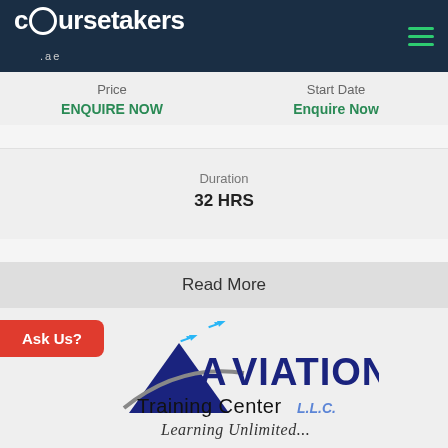coursetakers.ae
Price
ENQUIRE NOW
Start Date
Enquire Now
Duration
32 HRS
Read More
Ask Us?
[Figure (logo): Aviation Training Center L.L.C. Learning Unlimited... logo with airplane and mountain graphic]